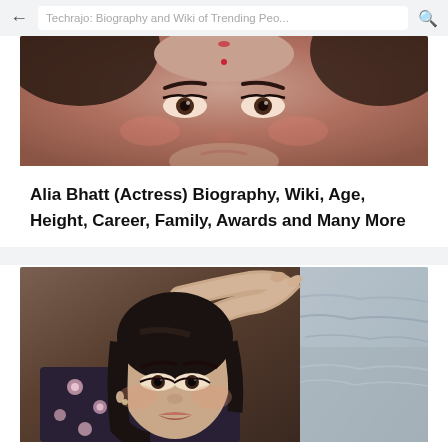Techrajo: Biography and Wiki of Trending Peo...
[Figure (photo): Close-up portrait photo of Alia Bhatt actress showing face with bindi and traditional makeup]
Alia Bhatt (Actress) Biography, Wiki, Age, Height, Career, Family, Awards and Many More
[Figure (photo): Portrait photo of Shree Gopika Neelnath actress with floral outfit and hand raised near head, with outdoor background]
Shree Gopika Neelnath (Actress) Biography, Wiki, Age, Height, Career, Family, Awards and Many More